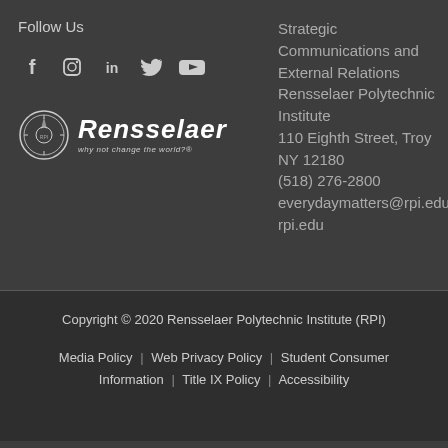Follow Us
[Figure (illustration): Social media icons: Facebook, Instagram, LinkedIn, Twitter, YouTube]
[Figure (logo): Rensselaer Polytechnic Institute logo with seal and 'why not change the world?' tagline]
Strategic Communications and External Relations
Rensselaer Polytechnic Institute
110 Eighth Street, Troy NY 12180
(518) 276-2800
everydaymatters@rpi.edu
rpi.edu
Copyright © 2020 Rensselaer Polytechnic Institute (RPI)
Media Policy | Web Privacy Policy | Student Consumer Information | Title IX Policy | Accessibility